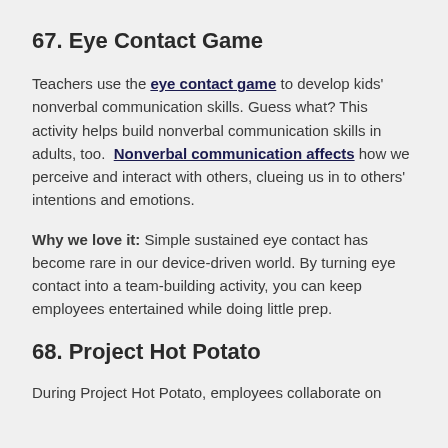67. Eye Contact Game
Teachers use the eye contact game to develop kids' nonverbal communication skills. Guess what? This activity helps build nonverbal communication skills in adults, too. Nonverbal communication affects how we perceive and interact with others, clueing us in to others' intentions and emotions.
Why we love it: Simple sustained eye contact has become rare in our device-driven world. By turning eye contact into a team-building activity, you can keep employees entertained while doing little prep.
68. Project Hot Potato
During Project Hot Potato, employees collaborate on